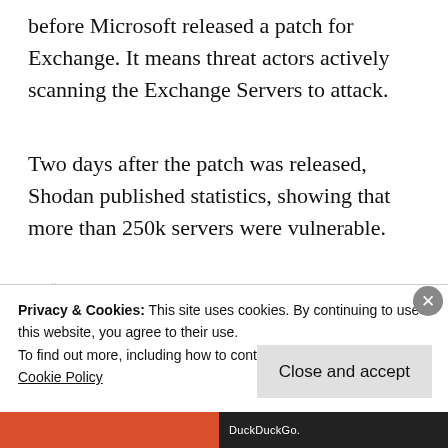before Microsoft released a patch for Exchange. It means threat actors actively scanning the Exchange Servers to attack.
Two days after the patch was released, Shodan published statistics, showing that more than 250k servers were vulnerable.
[Figure (other): Partial screenshot of a Shodan STATISTICS chart showing server vulnerability data, partially obscured by a cookie consent banner.]
Privacy & Cookies: This site uses cookies. By continuing to use this website, you agree to their use.
To find out more, including how to control cookies, see here: Cookie Policy
Close and accept
DuckDuckGo.